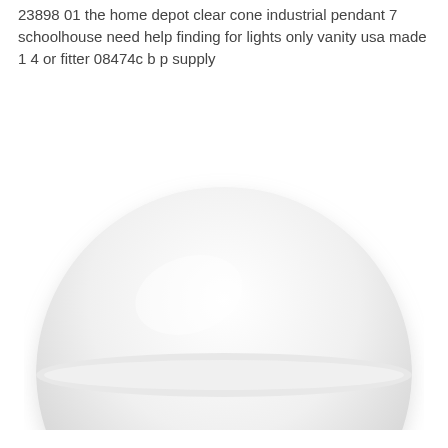23898 01 the home depot clear cone industrial pendant 7 schoolhouse need help finding for lights only vanity usa made 1 4 or fitter 08474c b p supply
[Figure (photo): A white frosted glass dome-shaped light shade or globe, hemispherical in form, photographed against a white background. The shade is wide and flat on the bottom with a smooth rounded top.]